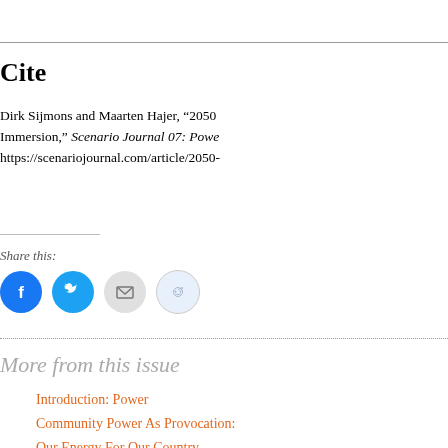Cite
Dirk Sijmons and Maarten Hajer, “2050 Immersion,” Scenario Journal 07: Power https://scenariojournal.com/article/2050-
Share this:
[Figure (infographic): Four social sharing icons: Facebook (blue circle), Twitter (blue circle), Email (gray circle), Reddit (light blue circle)]
More from this issue
Introduction: Power
Community Power As Provocation:
Our Energy For Our Country